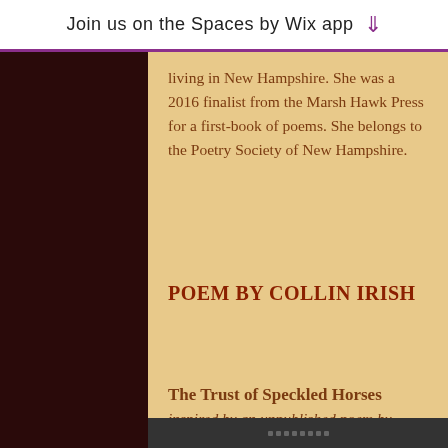Join us on the Spaces by Wix app
living in New Hampshire. She was a 2016 finalist from the Marsh Hawk Press for a first-book of poems. She belongs to the Poetry Society of New Hampshire.
POEM BY COLLIN IRISH
The Trust of Speckled Horses
inspired by an unpublished poem by Robert Bly